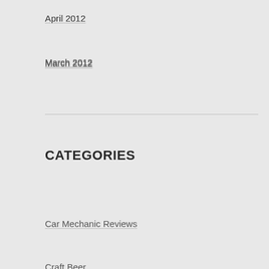April 2012
March 2012
CATEGORIES
Car Mechanic Reviews
Craft Beer
Craft Cider
Craft Mead
Crew Horse And Car Shows
Dailys Post
Documentary Reviews
GTA Guides And Reviews
Import Beer